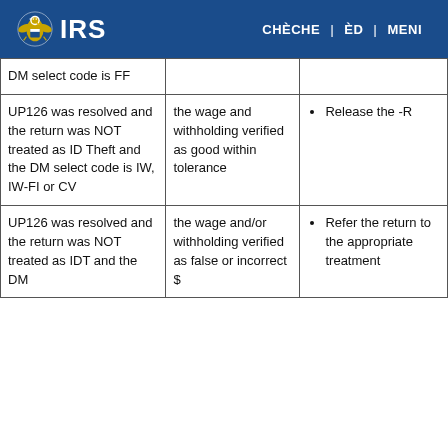IRS | CHÈCHE | ÈD | MENI
| DM select code is FF |  |  |
| UP126 was resolved and the return was NOT treated as ID Theft and the DM select code is IW, IW-FI or CV | the wage and withholding verified as good within tolerance | Release the -R |
| UP126 was resolved and the return was NOT treated as IDT and the DM | the wage and/or withholding verified as false or incorrect $ | Refer the return to the appropriate treatment |